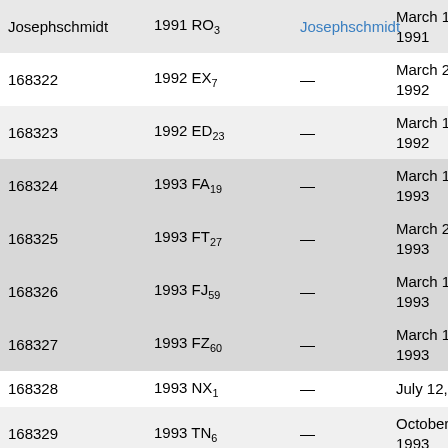| Minor planet | Designation | Named after | Discovery date | Discoverer |
| --- | --- | --- | --- | --- |
| Josephschmidt | 1991 RO3 | Josephschmidt | March 12, 1991 | Ob |
| 168322 | 1992 EX7 | — | March 2, 1992 | La |
| 168323 | 1992 ED23 | — | March 1, 1992 | La |
| 168324 | 1993 FA19 | — | March 17, 1993 | La |
| 168325 | 1993 FT27 | — | March 21, 1993 | La |
| 168326 | 1993 FJ59 | — | March 19, 1993 | La |
| 168327 | 1993 FZ60 | — | March 19, 1993 | La |
| 168328 | 1993 NX1 | — | July 12, 1993 | La |
| 168329 | 1993 TN6 | — | October 9, 1993 | Kit |
| 168330 | 1993 TZ7 | — | October 10, 1993 | Kit |
| 168331 | 1993 TA8 | — | October 10, 1993 | Kit |
| 168332 | 1993 TC28 | — | October 9, 1993 | La |
| 168333 | 1994 CT... | — | February... | ... |